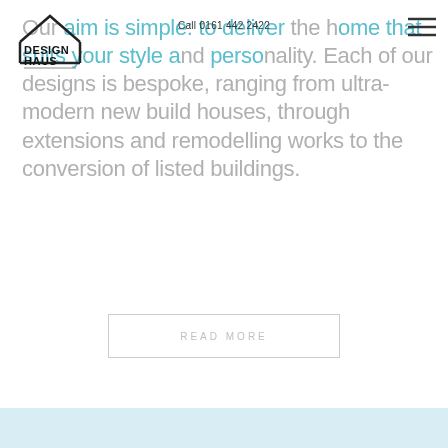[Figure (logo): Design Haus logo — house outline graphic above bold text DESIGN HAUS]
Call 0161 442 2422
Our aim is simple: to deliver the home that suits your style and personality. Each of our designs is bespoke, ranging from ultra-modern new build houses, through extensions and remodelling works to the conversion of listed buildings.
READ MORE